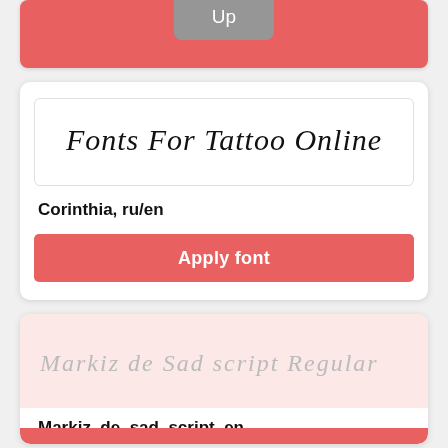[Figure (screenshot): Top card with salmon/red background and 'Up' badge in gray]
[Figure (screenshot): Font card showing 'Fonts For Tattoo Online' in cursive script font preview]
Corinthia, ru/en
Apply font
[Figure (screenshot): Font card showing 'Markiz de Sad script Regular' in cursive script font preview on pink background]
Markiz_de_sad_script, en
Please, share link to our service, to activate all fonts